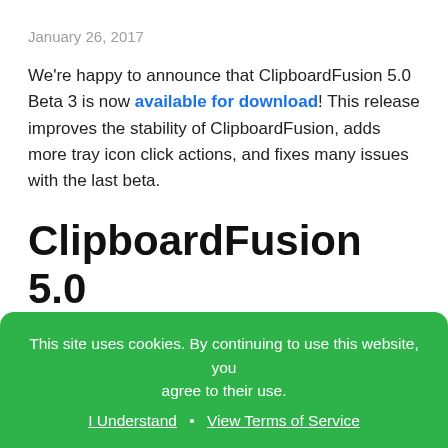January 26, 2017
We're happy to announce that ClipboardFusion 5.0 Beta 3 is now available for download! This release improves the stability of ClipboardFusion, adds more tray icon click actions, and fixes many issues with the last beta.
ClipboardFusion 5.0 Beta 3 Changes
ClipboardFusion will no longer freeze
The scrubbing sound can be disabled
This site uses cookies. By continuing to use this website, you agree to their use. I Understand · View Terms of Service
many other fixes and improvements